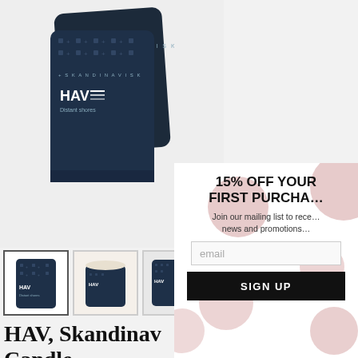[Figure (photo): Dark navy candle container with SKANDINAVISK branding pattern and HAV label with wave symbol and 'Distant shores' text]
[Figure (photo): Three product thumbnails: (1) navy candle with pattern lid, (2) open candle showing wax, (3) candle side view]
HAV, Skandinav… Candle
[Figure (screenshot): Email signup popup overlay with polka dot background. Headline: 15% OFF YOUR FIRST PURCHA… Subtext: Join our mailing list to rece… news and promotions… Email input field. SIGN UP button.]
15% OFF YOUR FIRST PURCHA…
Join our mailing list to rece… news and promotions…
email
SIGN UP